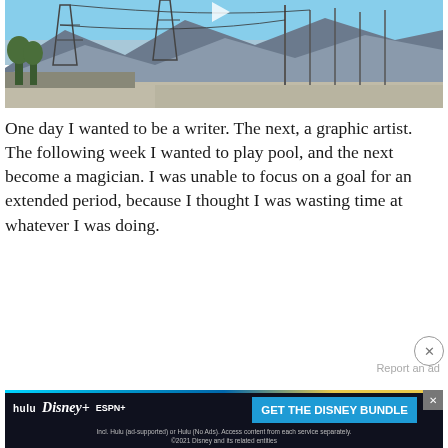[Figure (photo): Outdoor scene showing electrical transmission towers and power lines with mountains in the background under a blue sky, along a road with utility poles]
One day I wanted to be a writer. The next, a graphic artist. The following week I wanted to play pool, and the next become a magician. I was unable to focus on a goal for an extended period, because I thought I was wasting time at whatever I was doing.
[Figure (screenshot): Disney Bundle advertisement banner featuring Hulu, Disney+, and ESPN+ logos with text 'GET THE DISNEY BUNDLE'. Fine print: 'Incl. Hulu (ad-supported) or Hulu (No Ads). Access content from each service separately. ©2021 Disney and its related entities']